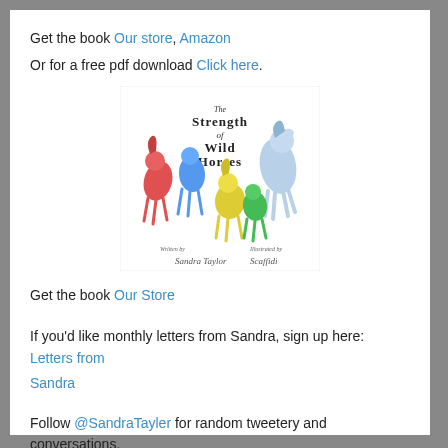Get the book Our store, Amazon
Or for a free pdf download Click here.
[Figure (illustration): Book cover for 'The Strength of Wild Horses' showing colorful cartoon horses and dragons with author signature at the bottom.]
Get the book Our Store
If you'd like monthly letters from Sandra, sign up here: Letters from Sandra
Follow @SandraTayler for random tweetery and conversations.